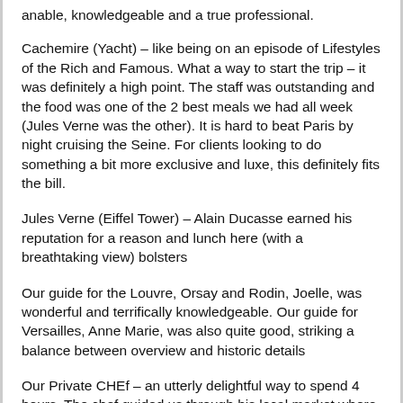anable, knowledgeable and a true professional.
Cachemire (Yacht) – like being on an episode of Lifestyles of the Rich and Famous.  What a way to start the trip – it was definitely a high point.  The staff was outstanding and the food was one of the 2 best meals we had all week (Jules Verne was the other).  It is hard to beat Paris by night cruising the Seine.  For clients looking to do something a bit more exclusive and luxe, this definitely fits the bill.
Jules Verne (Eiffel Tower) – Alain Ducasse earned his reputation for a reason and lunch here (with a breathtaking view) bolsters
Our guide for the Louvre, Orsay and Rodin, Joelle, was wonderful and terrifically knowledgeable.  Our guide for Versailles, Anne Marie, was also quite good, striking a balance between overview and historic details
Our Private CHEf  – an utterly delightful way to spend 4 hours.  The chef  guided us through his local market where we devised a menu and picked out our ingredients.  We returned to his atelier and helped prepare a delicious lunch.  He was engaging, gracious and a pretty good cook.  Ours was a simple lunch, but I know he can prepare more elaborate meals so if this is